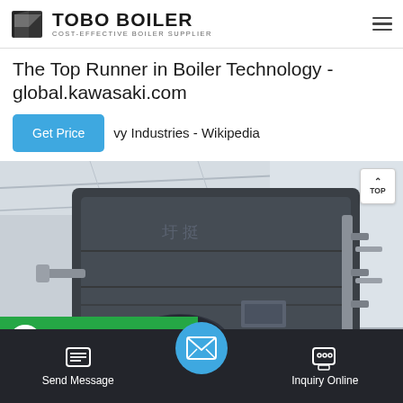TOBO BOILER — COST-EFFECTIVE BOILER SUPPLIER
The Top Runner in Boiler Technology - global.kawasaki.com
vy Industries - Wikipedia
[Figure (photo): Industrial boiler unit installed inside a large industrial building. The boiler is a large dark-grey cylindrical tank with pipes, valves, and supporting structure visible.]
WhatsApp
Send Message | Inquiry Online